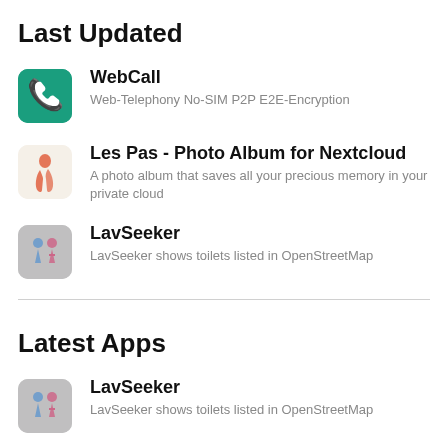Last Updated
WebCall
Web-Telephony No-SIM P2P E2E-Encryption
Les Pas - Photo Album for Nextcloud
A photo album that saves all your precious memory in your private cloud
LavSeeker
LavSeeker shows toilets listed in OpenStreetMap
Latest Apps
LavSeeker
LavSeeker shows toilets listed in OpenStreetMap